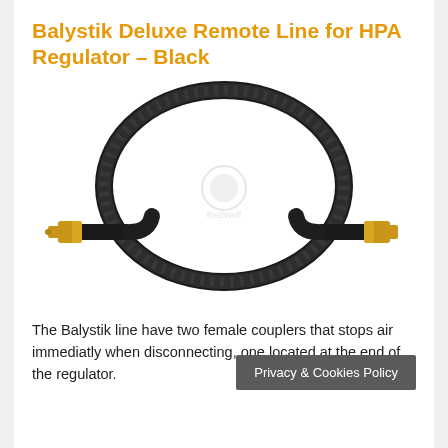Balystik Deluxe Remote Line for HPA Regulator – Black
[Figure (photo): A black braided HPA remote line with gold-colored female quick-disconnect couplers on both ends, coiled in a circular loop against a white background. A faint watermark logo is visible in the center.]
The Balystik line have two female couplers that stops air immediatly when disconnecting, one located at the end of the regulator.